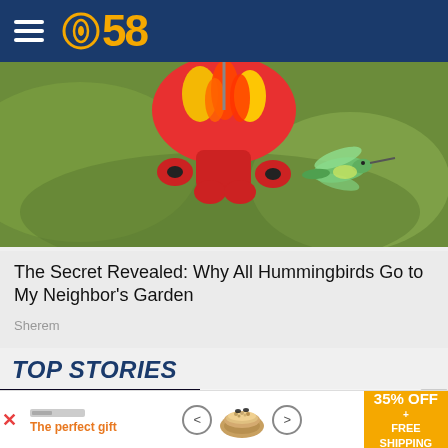CBS 58
[Figure (photo): Close-up photo of a red hummingbird feeder with a hummingbird hovering nearby, green background]
The Secret Revealed: Why All Hummingbirds Go to My Neighbor's Garden
Sherem
TOP STORIES
[Figure (photo): Photo of police car lights, blue and red flashing lights at night]
Waukesha County medical examiner called
[Figure (infographic): Advertisement banner: The perfect gift, with product image and 35% OFF + FREE SHIPPING offer]